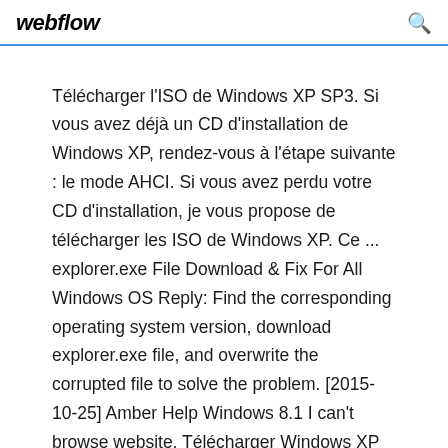webflow
Télécharger l'ISO de Windows XP SP3. Si vous avez déjà un CD d'installation de Windows XP, rendez-vous à l'étape suivante : le mode AHCI. Si vous avez perdu votre CD d'installation, je vous propose de télécharger les ISO de Windows XP. Ce ... explorer.exe File Download & Fix For All Windows OS Reply: Find the corresponding operating system version, download explorer.exe file, and overwrite the corrupted file to solve the problem. [2015-10-25] Amber Help Windows 8.1 I can't browse website. Télécharger Windows XP Service Pack 3 Officiel - JenyBurn salut: avant d'installer le mise à jour SP3 sur Windows XP SP2, il faut